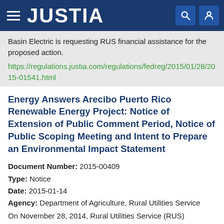JUSTIA
Basin Electric is requesting RUS financial assistance for the proposed action.
https://regulations.justia.com/regulations/fedreg/2015/01/28/2015-01541.html
Energy Answers Arecibo Puerto Rico Renewable Energy Project: Notice of Extension of Public Comment Period, Notice of Public Scoping Meeting and Intent to Prepare an Environmental Impact Statement
Document Number: 2015-00409
Type: Notice
Date: 2015-01-14
Agency: Department of Agriculture, Rural Utilities Service
On November 28, 2014, Rural Utilities Service (RUS) published a Notice of Intent (NOI) announcing its intent